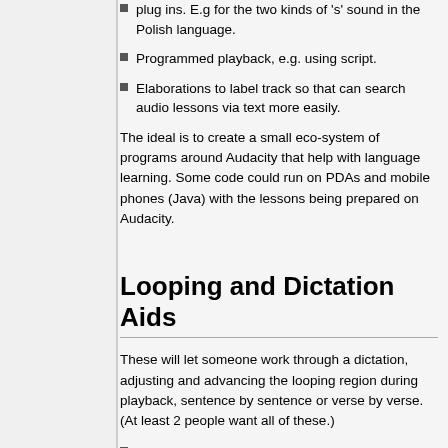plug ins. E.g for the two kinds of 's' sound in the Polish language.
Programmed playback, e.g. using script.
Elaborations to label track so that can search audio lessons via text more easily.
The ideal is to create a small eco-system of programs around Audacity that help with language learning. Some code could run on PDAs and mobile phones (Java) with the lessons being prepared on Audacity.
Looping and Dictation Aids
These will let someone work through a dictation, adjusting and advancing the looping region during playback, sentence by sentence or verse by verse. (At least 2 people want all of these.)
When the user hits right-bracket, set the end of looping region to the current position